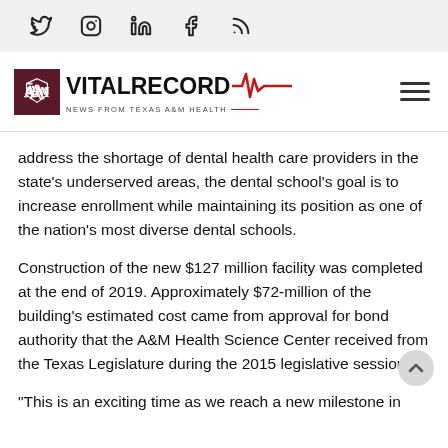Social media icons: Twitter, Instagram, LinkedIn, Facebook, RSS
[Figure (logo): Vital Record — News from Texas A&M Health logo with ATM seal, bold VITAL RECORD text, red heartbeat line]
address the shortage of dental health care providers in the state's underserved areas, the dental school's goal is to increase enrollment while maintaining its position as one of the nation's most diverse dental schools.
Construction of the new $127 million facility was completed at the end of 2019. Approximately $72-million of the building's estimated cost came from approval for bond authority that the A&M Health Science Center received from the Texas Legislature during the 2015 legislative session.
“This is an exciting time as we reach a new milestone in